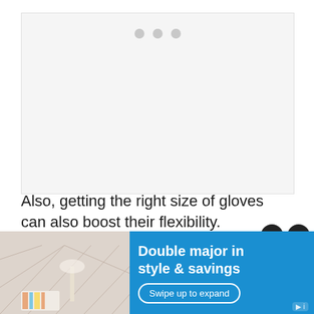[Figure (other): Loading placeholder with three grey dots on light grey background, representing an advertisement or image loading area]
Also, getting the right size of gloves can also boost their flexibility.
8 Best Chainsaw Gloves of 2021
[Figure (infographic): Blue advertisement banner overlay at the bottom. Left side shows a photo of a desk with geometric pattern wallpaper, lamp, and stationery. Right side on blue background shows text 'Double major in style & savings' with a 'Swipe up to expand' button. Close (X) and P icon buttons appear at top right.]